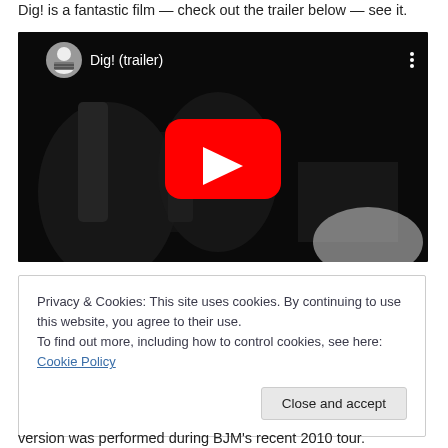Dig! is a fantastic film — check out the trailer below — see it.
[Figure (screenshot): YouTube embedded video thumbnail for 'Dig! (trailer)' showing a black and white concert scene with a red YouTube play button in the center, channel avatar in top-left, video title 'Dig! (trailer)' in white text, and three-dot menu in top-right.]
Privacy & Cookies: This site uses cookies. By continuing to use this website, you agree to their use.
To find out more, including how to control cookies, see here: Cookie Policy
[Close and accept]
version was performed during BJM's recent 2010 tour.